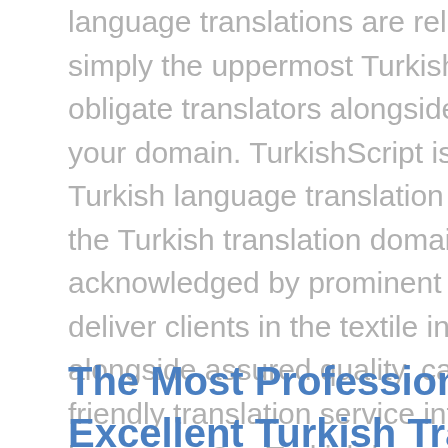language translations are reliant on more than simply the uppermost Turkish linguists; they obligate translators alongside competence within your domain. TurkishScript is a well-known Turkish language translation services vendor to the Turkish translation domain and is always acknowledged by prominent businesses. We deliver clients in the textile industry domain alongside assured quality, careful, and budget friendly translation service into and out of Turkish language. Our Turkish language specialists have been qualified in our elaborate scrutiny procedure and are carefully picked by our team for each and every Turkish language translation job order. Your translations into Turkish are solely carried out by specialized, knowledgeable, native-born Turkish translation specialists.
The Most Professional & Excellent Turkish Translators